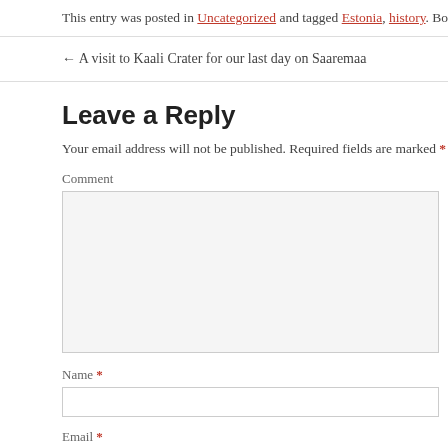This entry was posted in Uncategorized and tagged Estonia, history. Bookmark
← A visit to Kaali Crater for our last day on Saaremaa
Leave a Reply
Your email address will not be published. Required fields are marked *
Comment
Name *
Email *